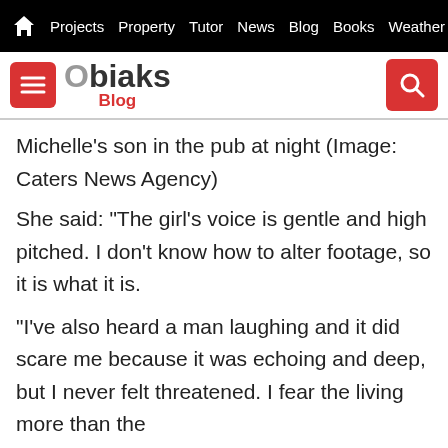Projects  Property  Tutor  News  Blog  Books  Weather
[Figure (logo): Obiaks Blog logo with hamburger menu button and search button]
Michelle's son in the pub at night (Image: Caters News Agency)
She said: "The girl's voice is gentle and high pitched. I don't know how to alter footage, so it is what it is.
"I've also heard a man laughing and it did scare me because it was echoing and deep, but I never felt threatened. I fear the living more than the